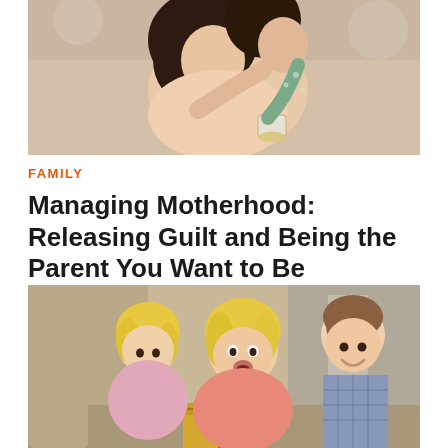[Figure (photo): A mother and daughter embracing warmly; daughter hugging mother from behind while mother holds a cup]
FAMILY
Managing Motherhood: Releasing Guilt and Being the Parent You Want to Be
[Figure (photo): A family scene with a young blonde girl and her parents looking at a gift box together, smiling and laughing]